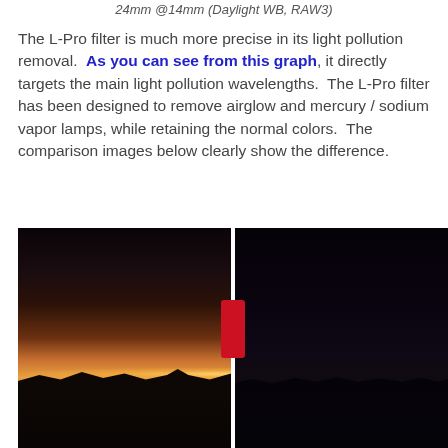24mm @14mm (Daylight WB, RAW3)
The L-Pro filter is much more precise in its light pollution removal.  As you can see from this graph, it directly targets the main light pollution wavelengths.  The L-Pro filter has been designed to remove airglow and mercury / sodium vapor lamps, while retaining the normal colors.  The comparison images below clearly show the difference.
[Figure (photo): Side-by-side comparison of two night sky photos split by a draggable vertical slider with a red handle. Left side shows significant orange/yellow light pollution glow over a city skyline with visible city lights. Right side shows the same scene with the L-Pro filter applied, dramatically reducing light pollution, resulting in a much darker, bluer sky.]